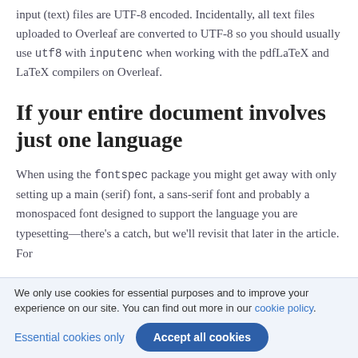input (text) files are UTF-8 encoded. Incidentally, all text files uploaded to Overleaf are converted to UTF-8 so you should usually use utf8 with inputenc when working with the pdfLaTeX and LaTeX compilers on Overleaf.
If your entire document involves just one language
When using the fontspec package you might get away with only setting up a main (serif) font, a sans-serif font and probably a monospaced font designed to support the language you are typesetting—there's a catch, but we'll revisit that later in the article. For
We only use cookies for essential purposes and to improve your experience on our site. You can find out more in our cookie policy.
Essential cookies only   Accept all cookies